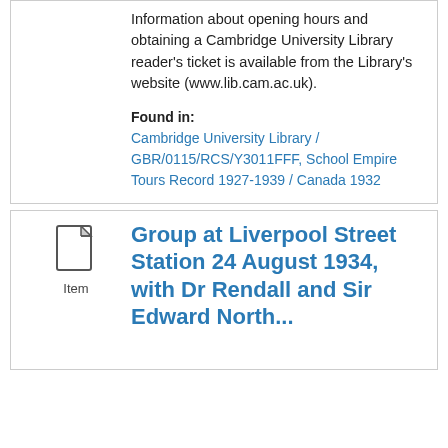Information about opening hours and obtaining a Cambridge University Library reader's ticket is available from the Library's website (www.lib.cam.ac.uk).
Found in: Cambridge University Library / GBR/0115/RCS/Y3011FFF, School Empire Tours Record 1927-1939 / Canada 1932
[Figure (other): Document/Item icon with label 'Item' below it]
Group at Liverpool Street Station 24 August 1934, with Dr Rendall and Sir Edward North...